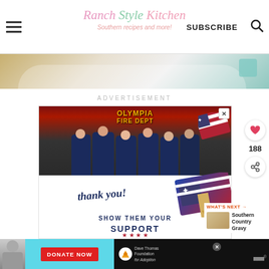Ranch Style Kitchen — Southern recipes and more! | SUBSCRIBE
[Figure (photo): Partial food photo at top of page, showing a plate and blue background]
ADVERTISEMENT
[Figure (photo): Advertisement image: firefighters from Olympia Fire Department posing with donations, text 'thank you! SHOW THEM YOUR SUPPORT' with American flag and pencil graphic. Bottom banner: Dave Thomas Foundation for Adoption donate now ad.]
188
WHAT'S NEXT →
Southern Country Gravy